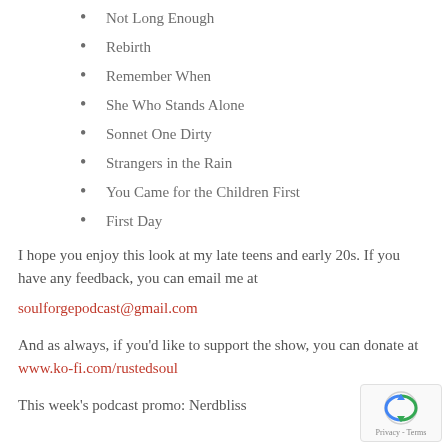Not Long Enough
Rebirth
Remember When
She Who Stands Alone
Sonnet One Dirty
Strangers in the Rain
You Came for the Children First
First Day
I hope you enjoy this look at my late teens and early 20s. If you have any feedback, you can email me at soulforgepodcast@gmail.com
And as always, if you'd like to support the show, you can donate at www.ko-fi.com/rustedsoul
This week's podcast promo: Nerdbliss